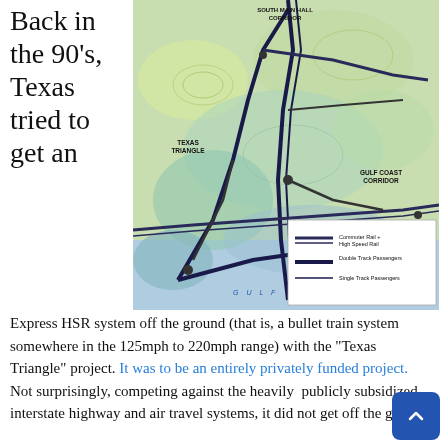Back in the 90's, Texas tried to get an
[Figure (map): Map of Texas showing proposed high-speed rail corridors including the South Main Corridor, Texas Triangle, and Gulf Coast Corridor routes. Legend shows Commuter Rail + High Speed Rail (double line), Double Track Passengers (thick dark line), and Single Track Passengers (thin line). Gulf of Mexico labeled at bottom.]
Express HSR system off the ground (that is, a bullet train system somewhere in the 125mph to 220mph range) with the "Texas Triangle" project. It was to be an entirely privately funded project. Not surprisingly, competing against the heavily publicly subsidized interstate highway and air travel systems, it did not get off the ground.